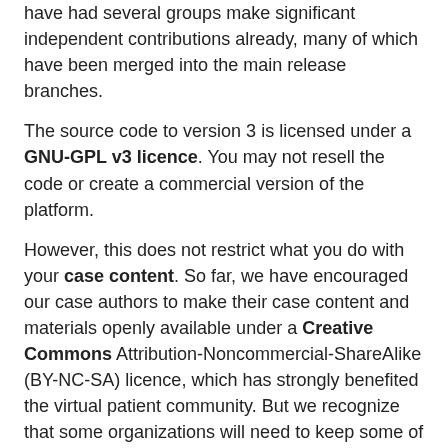have had several groups make significant independent contributions already, many of which have been merged into the main release branches.
The source code to version 3 is licensed under a GNU-GPL v3 licence. You may not resell the code or create a commercial version of the platform.
However, this does not restrict what you do with your case content. So far, we have encouraged our case authors to make their case content and materials openly available under a Creative Commons Attribution-Noncommercial-ShareAlike (BY-NC-SA) licence, which has strongly benefited the virtual patient community. But we recognize that some organizations will need to keep some of their case materials private, such as for summative exams. We do not restrict what you can do with your case content or how you license it.